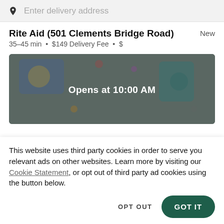Enter delivery address
Rite Aid (501 Clements Bridge Road)
35–45 min • $149 Delivery Fee • $
[Figure (photo): Hero image of craft supplies on a table with a child's hand, overlaid with 'Opens at 10:00 AM' text]
This website uses third party cookies in order to serve you relevant ads on other websites. Learn more by visiting our Cookie Statement, or opt out of third party ad cookies using the button below.
OPT OUT
GOT IT